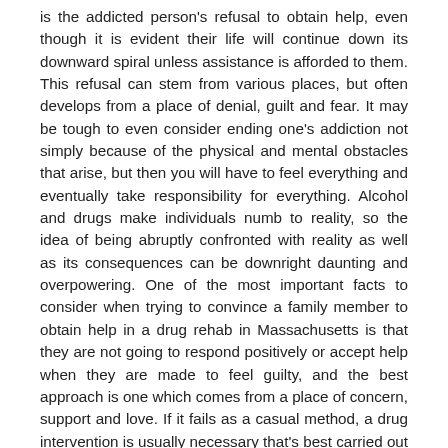is the addicted person's refusal to obtain help, even though it is evident their life will continue down its downward spiral unless assistance is afforded to them. This refusal can stem from various places, but often develops from a place of denial, guilt and fear. It may be tough to even consider ending one's addiction not simply because of the physical and mental obstacles that arise, but then you will have to feel everything and eventually take responsibility for everything. Alcohol and drugs make individuals numb to reality, so the idea of being abruptly confronted with reality as well as its consequences can be downright daunting and overpowering. One of the most important facts to consider when trying to convince a family member to obtain help in a drug rehab in Massachusetts is that they are not going to respond positively or accept help when they are made to feel guilty, and the best approach is one which comes from a place of concern, support and love. If it fails as a casual method, a drug intervention is usually necessary that's best carried out by making use of a drug interventionist.
A drug intervention is a straightforward process but an effective one. As mentioned above, it isn't likely that a person in the throes of addiction is going to respond well and accept help